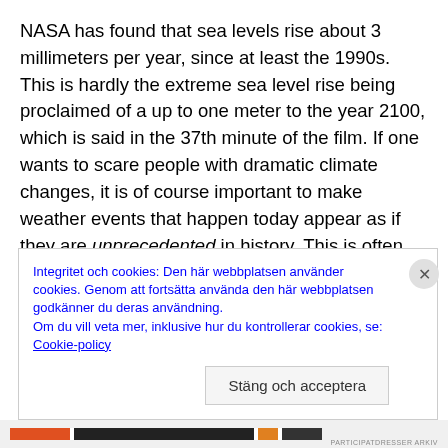NASA has found that sea levels rise about 3 millimeters per year, since at least the 1990s. This is hardly the extreme sea level rise being proclaimed of a up to one meter to the year 2100, which is said in the 37th minute of the film. If one wants to scare people with dramatic climate changes, it is of course important to make weather events that happen today appear as if they are unprecedented in history. This is often said about temperatures, forest fires, etc. In Attenborough's film, astrophysicist Jim Hansen says that sea levels previously have "been stable for several
Integritet och cookies: Den här webbplatsen använder cookies. Genom att fortsätta använda den här webbplatsen godkänner du deras användning.
Om du vill veta mer, inklusive hur du kontrollerar cookies, se: Cookie-policy
Stäng och acceptera